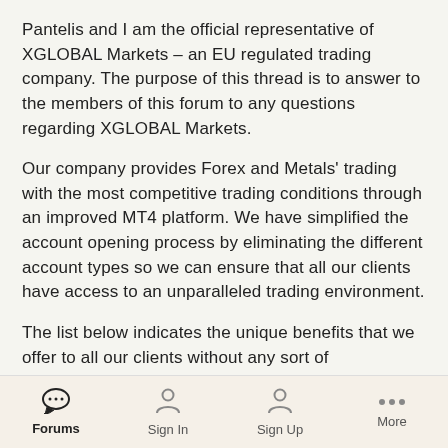Pantelis and I am the official representative of XGLOBAL Markets – an EU regulated trading company. The purpose of this thread is to answer to the members of this forum to any questions regarding XGLOBAL Markets.
Our company provides Forex and Metals' trading with the most competitive trading conditions through an improved MT4 platform. We have simplified the account opening process by eliminating the different account types so we can ensure that all our clients have access to an unparalleled trading environment.
The list below indicates the unique benefits that we offer to all our clients without any sort of classification
· One account type for all traders that can be activated with any amount
Forums | Sign In | Sign Up | More